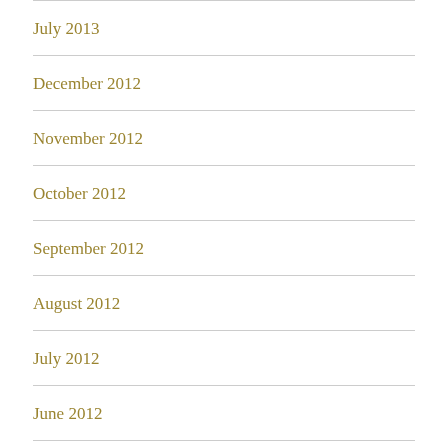July 2013
December 2012
November 2012
October 2012
September 2012
August 2012
July 2012
June 2012